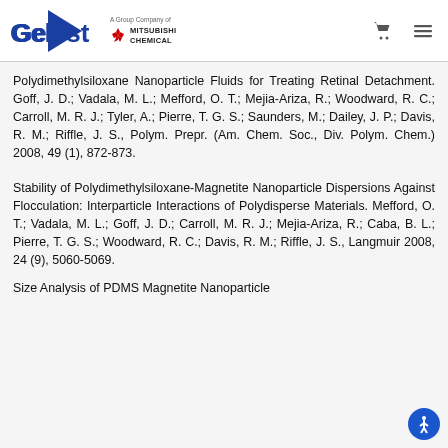Gelest — A Group Company of Mitsubishi Chemical
Polydimethylsiloxane Nanoparticle Fluids for Treating Retinal Detachment. Goff, J. D.; Vadala, M. L.; Mefford, O. T.; Mejia-Ariza, R.; Woodward, R. C.; Carroll, M. R. J.; Tyler, A.; Pierre, T. G. S.; Saunders, M.; Dailey, J. P.; Davis, R. M.; Riffle, J. S., Polym. Prepr. (Am. Chem. Soc., Div. Polym. Chem.) 2008, 49 (1), 872-873.
Stability of Polydimethylsiloxane-Magnetite Nanoparticle Dispersions Against Flocculation: Interparticle Interactions of Polydisperse Materials. Mefford, O. T.; Vadala, M. L.; Goff, J. D.; Carroll, M. R. J.; Mejia-Ariza, R.; Caba, B. L.; Pierre, T. G. S.; Woodward, R. C.; Davis, R. M.; Riffle, J. S., Langmuir 2008, 24 (9), 5060-5069.
Size Analysis of PDMS Magnetite Nanoparticle